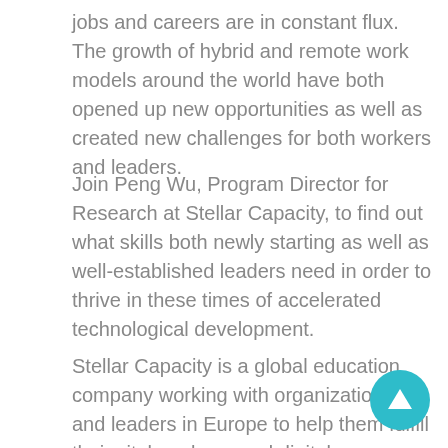jobs and careers are in constant flux. The growth of hybrid and remote work models around the world have both opened up new opportunities as well as created new challenges for both workers and leaders.
Join Peng Wu, Program Director for Research at Stellar Capacity, to find out what skills both newly starting as well as well-established leaders need in order to thrive in these times of accelerated technological development.
Stellar Capacity is a global education company working with organizations and leaders in Europe to help them fulfill their vital goals around digital transformation and leadership. Stellar Capacity teaches skills that empower companies and leaders to adapt and grow in these changing times. Join Peng as he distills Stellar Capacity's experiences and research to show what skills will be in demand in the future. He